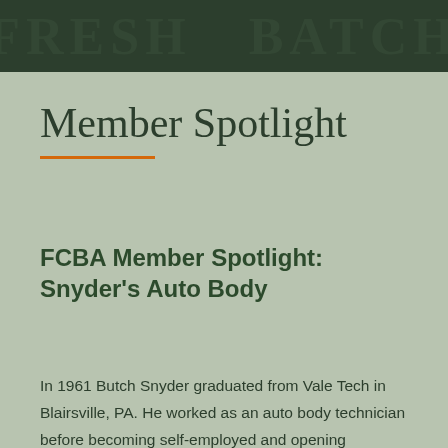[Figure (other): Dark green header banner with faint large bold text overlay forming a decorative background pattern]
Member Spotlight
FCBA Member Spotlight: Snyder's Auto Body
In 1961 Butch Snyder graduated from Vale Tech in Blairsville, PA. He worked as an auto body technician before becoming self-employed and opening Snyder's